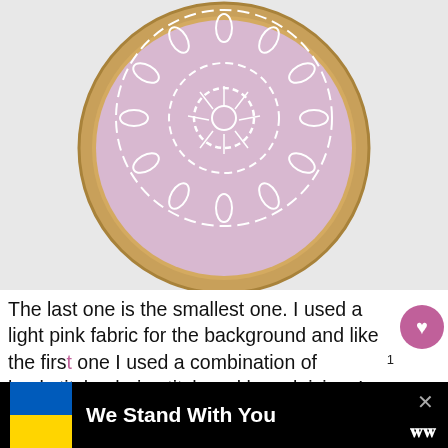[Figure (photo): Embroidery hoop with light lavender/pink fabric featuring a white mandala-style embroidery design with backstitch, chain stitch, and lazy daisy stitches forming circular spoke patterns. Watermark reads '5 Little Monsters'. The hoop has a natural wood frame.]
The last one is the smallest one. I used a light pink fabric for the background and like the first one I used a combination of backstitch, chain stitch and lazy daisies. I used backstitch for spoke type part, chain stitch for the circles and the loo
[Figure (infographic): Bottom banner with Ukrainian flag (blue and yellow halves), black background, white bold text 'We Stand With You', close button X, and Buzzfeed logo icon.]